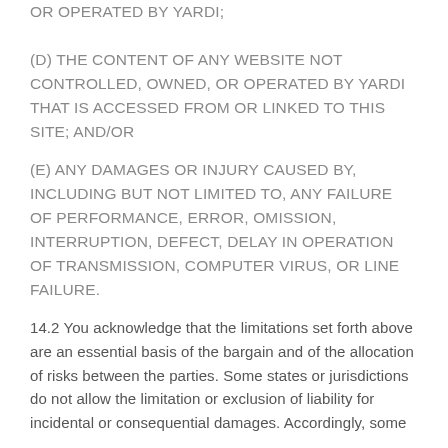OR OPERATED BY YARDI;
(D) THE CONTENT OF ANY WEBSITE NOT CONTROLLED, OWNED, OR OPERATED BY YARDI THAT IS ACCESSED FROM OR LINKED TO THIS SITE; AND/OR
(E) ANY DAMAGES OR INJURY CAUSED BY, INCLUDING BUT NOT LIMITED TO, ANY FAILURE OF PERFORMANCE, ERROR, OMISSION, INTERRUPTION, DEFECT, DELAY IN OPERATION OF TRANSMISSION, COMPUTER VIRUS, OR LINE FAILURE.
14.2 You acknowledge that the limitations set forth above are an essential basis of the bargain and of the allocation of risks between the parties. Some states or jurisdictions do not allow the limitation or exclusion of liability for incidental or consequential damages. Accordingly, some